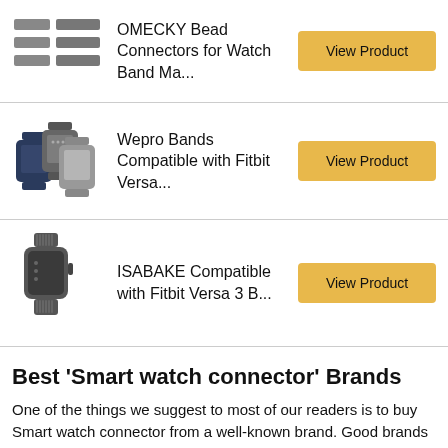[Figure (photo): OMECKY Bead Connectors product image showing small rectangular bead connector pieces in gray]
OMECKY Bead Connectors for Watch Band Ma...
View Product
[Figure (photo): Wepro Bands Compatible with Fitbit Versa - showing three smartwatch band styles]
Wepro Bands Compatible with Fitbit Versa...
View Product
[Figure (photo): ISABAKE Compatible with Fitbit Versa 3 Band - showing a smartwatch with band]
ISABAKE Compatible with Fitbit Versa 3 B...
View Product
Best 'Smart watch connector' Brands
One of the things we suggest to most of our readers is to buy Smart watch connector from a well-known brand. Good brands provide, good quality products, great customer support, and have service centers in different